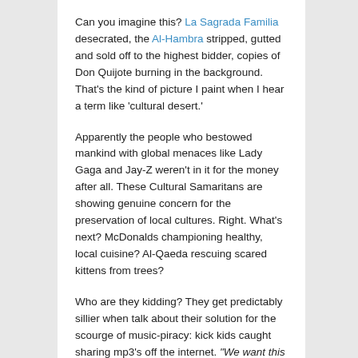Can you imagine this? La Sagrada Familia desecrated, the Al-Hambra stripped, gutted and sold off to the highest bidder, copies of Don Quijote burning in the background. That's the kind of picture I paint when I hear a term like 'cultural desert.'
Apparently the people who bestowed mankind with global menaces like Lady Gaga and Jay-Z weren't in it for the money after all. These Cultural Samaritans are showing genuine concern for the preservation of local cultures. Right. What's next? McDonalds championing healthy, local cuisine? Al-Qaeda rescuing scared kittens from trees?
Who are they kidding? They get predictably sillier when talk about their solution for the scourge of music-piracy: kick kids caught sharing mp3's off the internet. "We want this to be futureproof. If there is a risk of kids losing their internet connection, they will stop!", mr Kennedy of the International Federation of the Phonographic Industry